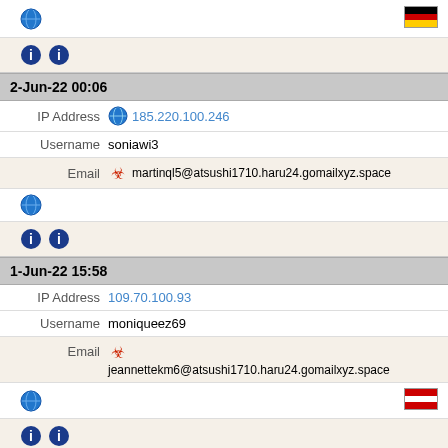[Figure (infographic): Row with globe icon and German flag icon (partial top entry)]
[Figure (infographic): Row with two info icons (partial top entry)]
2-Jun-22 00:06
IP Address  185.220.100.246
Username  soniawi3
Email  martinql5@atsushi1710.haru24.gomailxyz.space
[Figure (infographic): Row with globe icon]
[Figure (infographic): Row with two info icons]
1-Jun-22 15:58
IP Address  109.70.100.93
Username  moniqueez69
Email  jeannettekm6@atsushi1710.haru24.gomailxyz.space
[Figure (infographic): Row with globe icon and Austrian flag icon]
[Figure (infographic): Row with two info icons]
1-Jun-22 14:17
IP Address  107.189.31.227